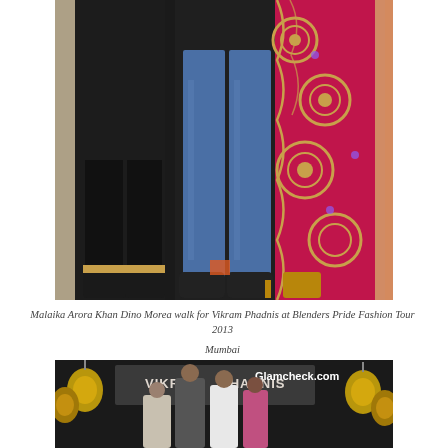[Figure (photo): Cropped lower-body photo showing people standing: two men in black outfit and blue jeans, and women in ornate pink/gold embroidered Indian outfits on a dark stage]
Malaika Arora Khan Dino Morea walk for Vikram Phadnis at Blenders Pride Fashion Tour 2013 Mumbai
[Figure (photo): Group photo at Vikram Phadnis fashion show at Blenders Pride Fashion Tour 2013, with people posing in front of a VIKRAM PHADNIS backdrop with golden bells, Glamcheck.com watermark visible]